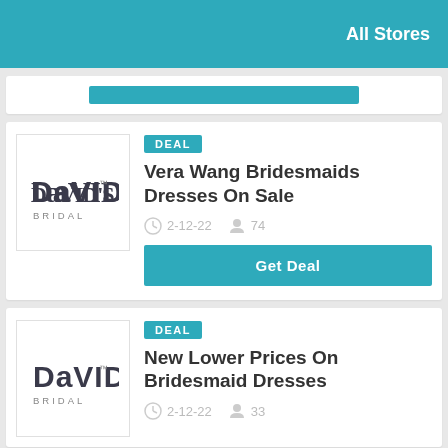All Stores
DEAL
Vera Wang Bridesmaids Dresses On Sale
2-12-22  74
Get Deal
DEAL
New Lower Prices On Bridesmaid Dresses
2-12-22  33